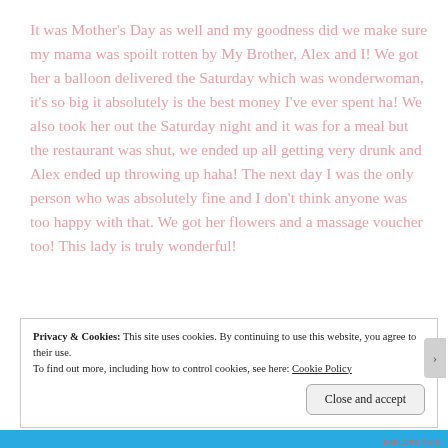It was Mother's Day as well and my goodness did we make sure my mama was spoilt rotten by My Brother, Alex and I! We got her a balloon delivered the Saturday which was wonderwoman, it's so big it absolutely is the best money I've ever spent ha! We also took her out the Saturday night and it was for a meal but the restaurant was shut, we ended up all getting very drunk and Alex ended up throwing up haha! The next day I was the only person who was absolutely fine and I don't think anyone was too happy with that. We got her flowers and a massage voucher too! This lady is truly wonderful!
Privacy & Cookies: This site uses cookies. By continuing to use this website, you agree to their use. To find out more, including how to control cookies, see here: Cookie Policy
Close and accept